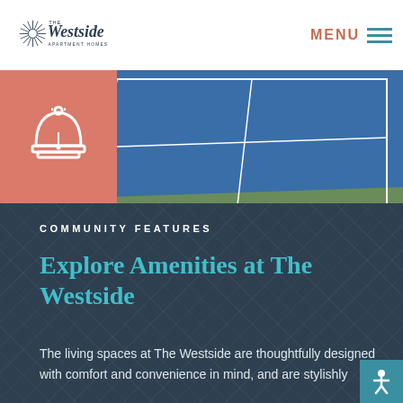[Figure (logo): The Westside Apartment Homes logo — starburst graphic with text]
MENU
[Figure (photo): Aerial view of a blue and green tennis court with white lines]
[Figure (illustration): Service bell / concierge bell icon on salmon/pink background square]
COMMUNITY FEATURES
Explore Amenities at The Westside
The living spaces at The Westside are thoughtfully designed with comfort and convenience in mind, and are stylishly